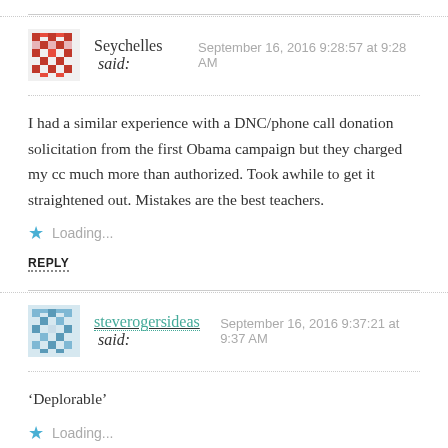Seychelles said: September 16, 2016 9:28:57 at 9:28 AM
I had a similar experience with a DNC/phone call donation solicitation from the first Obama campaign but they charged my cc much more than authorized. Took awhile to get it straightened out. Mistakes are the best teachers.
Loading...
REPLY
steverogersideas said: September 16, 2016 9:37:21 at 9:37 AM
‘Deplorable’
Loading...
REPLY